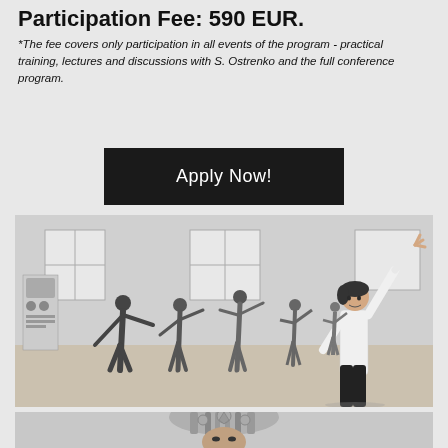Participation Fee: 590 EUR.
*The fee covers only participation in all events of the program - practical training, lectures and discussions with S. Ostrenko and the full conference program.
Apply Now!
[Figure (photo): Black and white photograph of a dance/movement class in a studio. Multiple participants are doing a stretching exercise with arms raised overhead and bodies bending sideways. A woman in a white long-sleeve top is prominent in the foreground on the right side.]
[Figure (photo): Partial black and white photograph showing a decorative headdress or costume piece at the bottom of the page.]